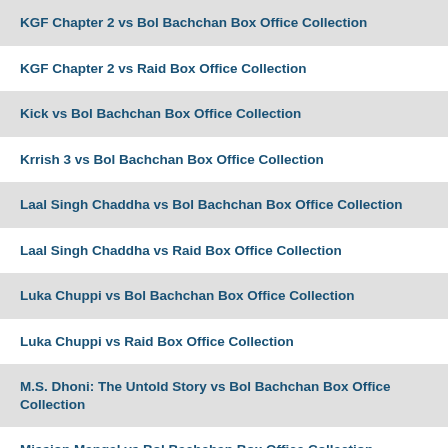KGF Chapter 2 vs Bol Bachchan Box Office Collection
KGF Chapter 2 vs Raid Box Office Collection
Kick vs Bol Bachchan Box Office Collection
Krrish 3 vs Bol Bachchan Box Office Collection
Laal Singh Chaddha vs Bol Bachchan Box Office Collection
Laal Singh Chaddha vs Raid Box Office Collection
Luka Chuppi vs Bol Bachchan Box Office Collection
Luka Chuppi vs Raid Box Office Collection
M.S. Dhoni: The Untold Story vs Bol Bachchan Box Office Collection
Mission Mangal vs Bol Bachchan Box Office Collection